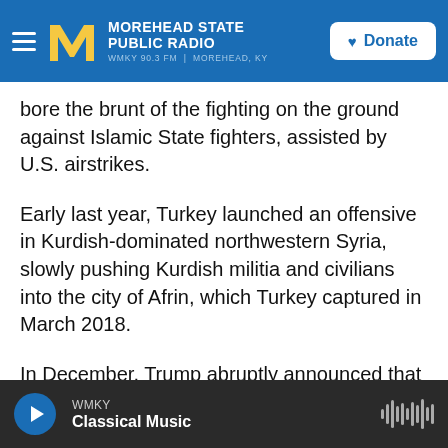Morehead State Public Radio — WMKY 90.3 FM | Morehead, KY
bore the brunt of the fighting on the ground against Islamic State fighters, assisted by U.S. airstrikes.
Early last year, Turkey launched an offensive in Kurdish-dominated northwestern Syria, slowly pushing Kurdish militia and civilians into the city of Afrin, which Turkey captured in March 2018.
In December, Trump abruptly announced that U.S. troops would be withdrawn from Syria — a move that elicited praise from Turkey but sparked criticism among Washington's allies and within the president's own Cabinet, where the move
WMKY Classical Music